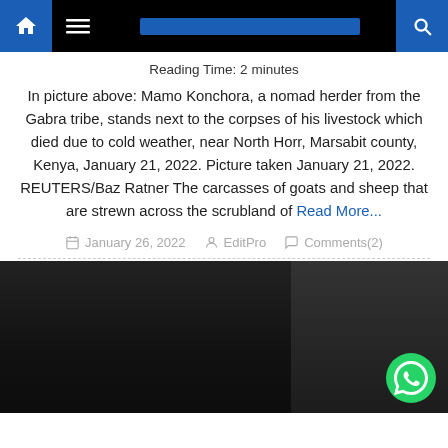Navigation bar with home, menu, and search icons
Reading Time: 2 minutes
In picture above: Mamo Konchora, a nomad herder from the Gabra tribe, stands next to the corpses of his livestock which died due to cold weather, near North Horr, Marsabit county, Kenya, January 21, 2022. Picture taken January 21, 2022. REUTERS/Baz Ratner The carcasses of goats and sheep that are strewn across the scrubland of Read More...
January 26, 2022  EditPro  Comments(2)
[Figure (photo): Dark photograph showing interior/exterior scene, partially visible at bottom of page. WhatsApp contact button visible in bottom right corner.]